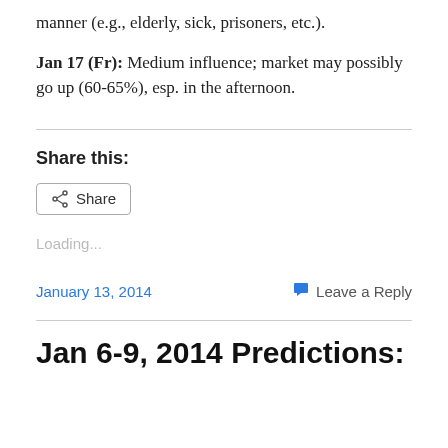manner (e.g., elderly, sick, prisoners, etc.).
Jan 17 (Fr): Medium influence; market may possibly go up (60-65%), esp. in the afternoon.
Share this:
Loading...
January 13, 2014
Leave a Reply
Jan 6-9, 2014 Predictions: